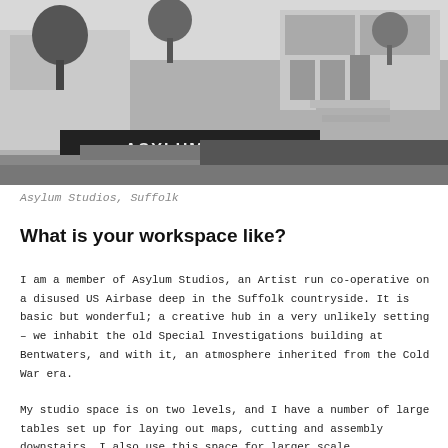[Figure (photo): Black and white photograph of Asylum Studios building exterior with a sign reading 'ASYLUM STUDIOS' visible in the foreground, trees and building facade in background.]
Asylum Studios, Suffolk
What is your workspace like?
I am a member of Asylum Studios, an Artist run co-operative on a disused US Airbase deep in the Suffolk countryside. It is basic but wonderful; a creative hub in a very unlikely setting – we inhabit the old Special Investigations building at Bentwaters, and with it, an atmosphere inherited from the Cold War era.
My studio space is on two levels, and I have a number of large tables set up for laying out maps, cutting and assembly downstairs. I also use this space for larger scale